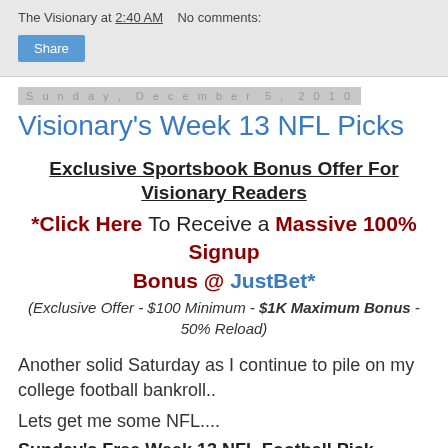The Visionary at 2:40 AM   No comments:
Share
Sunday, December 5, 2010
Visionary's Week 13 NFL Picks
Exclusive Sportsbook Bonus Offer For Visionary Readers
*Click Here To Receive a Massive 100% Signup Bonus @ JustBet*
(Exclusive Offer - $100 Minimum - $1K Maximum Bonus - 50% Reload)
Another solid Saturday as I continue to pile on my college football bankroll..
Lets get me some NFL....
Sunday's Free Week 13 NFL Football Picks